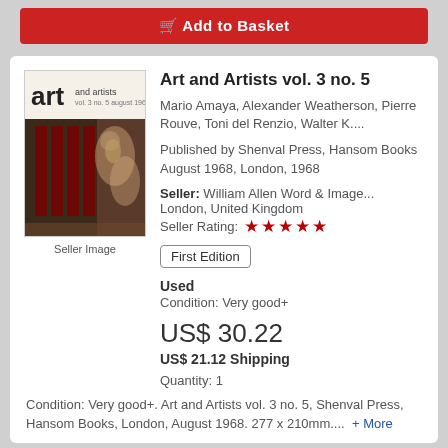[Figure (other): Red button/banner at top of page]
[Figure (photo): Book cover image for Art and Artists vol. 3 no. 5 showing artistic illustration with figures]
Seller Image
Art and Artists vol. 3 no. 5
Mario Amaya, Alexander Weatherson, Pierre Rouve, Toni del Renzio, Walter K....
Published by Shenval Press, Hansom Books August 1968, London, 1968
Seller: William Allen Word & Image... London, United Kingdom
Seller Rating: ★★★★★
First Edition
Used
Condition: Very good+
US$ 30.22
US$ 21.12 Shipping
Quantity: 1
Condition: Very good+. Art and Artists vol. 3 no. 5, Shenval Press, Hansom Books, London, August 1968. 277 x 210mm.... + More